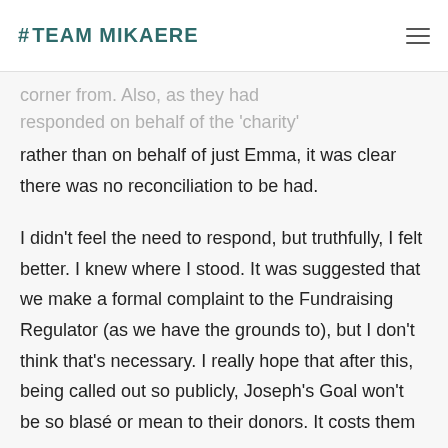#TEAM MIKAERE
corner from. Also, as they had responded on behalf of the 'charity' rather than on behalf of just Emma, it was clear there was no reconciliation to be had.
I didn't feel the need to respond, but truthfully, I felt better. I knew where I stood. It was suggested that we make a formal complaint to the Fundraising Regulator (as we have the grounds to), but I don't think that's necessary. I really hope that after this, being called out so publicly, Joseph's Goal won't be so blasé or mean to their donors. It costs them